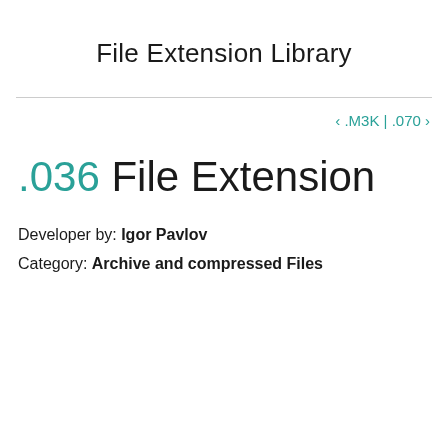File Extension Library
‹ .M3K | .070 ›
.036 File Extension
Developer by: Igor Pavlov
Category: Archive and compressed Files